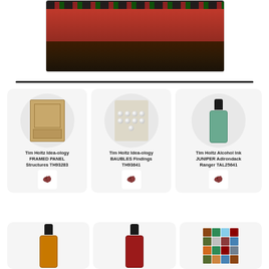[Figure (photo): Top photo of craft supplies or game board with decorative red and dark elements]
[Figure (photo): Product card: Tim Holtz Idea-ology FRAMED PANEL Structures TH93283 with shop icon]
[Figure (photo): Product card: Tim Holtz Idea-ology BAUBLES Findings TH93641 with shop icon]
[Figure (photo): Product card: Tim Holtz Alcohol Ink JUNIPER Adirondack Ranger TAL25641 with shop icon]
[Figure (photo): Bottom row partial product cards showing ink bottles and paper pack]